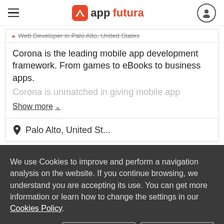appfutura
Web Developer in Palo Alto, United States
Corona is the leading mobile app development framework. From games to eBooks to business apps. Corona is unmatched in giving mobile app
Show more
Palo Alto, United St...
We use Cookies to improve and perform a navigation analysis on the website. If you continue browsing, we understand you are accepting its use. You can get more information or learn how to change the settings in our Cookies Policy.
Agree
More info